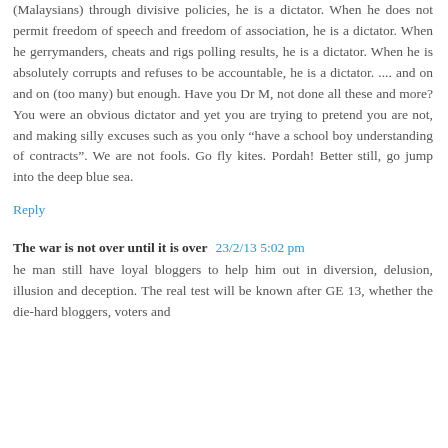(Malaysians) through divisive policies, he is a dictator. When he does not permit freedom of speech and freedom of association, he is a dictator. When he gerrymanders, cheats and rigs polling results, he is a dictator. When he is absolutely corrupts and refuses to be accountable, he is a dictator. .... and on and on (too many) but enough. Have you Dr M, not done all these and more? You were an obvious dictator and yet you are trying to pretend you are not, and making silly excuses such as you only "have a school boy understanding of contracts". We are not fools. Go fly kites. Pordah! Better still, go jump into the deep blue sea.
Reply
The war is not over until it is over  23/2/13 5:02 pm
he man still have loyal bloggers to help him out in diversion, delusion, illusion and deception. The real test will be known after GE 13, whether the die-hard bloggers, voters and